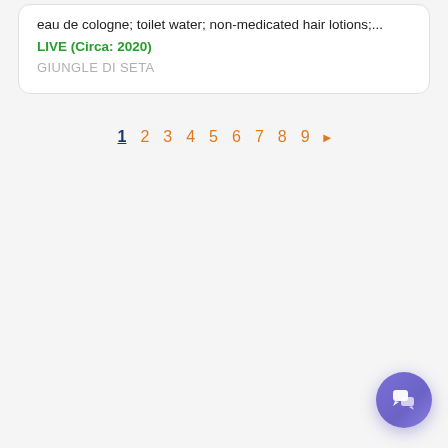eau de cologne; toilet water; non-medicated hair lotions;...
LIVE (Circa: 2020)
GIUNGLE DI SETA
1 2 3 4 5 6 7 8 9 ▶